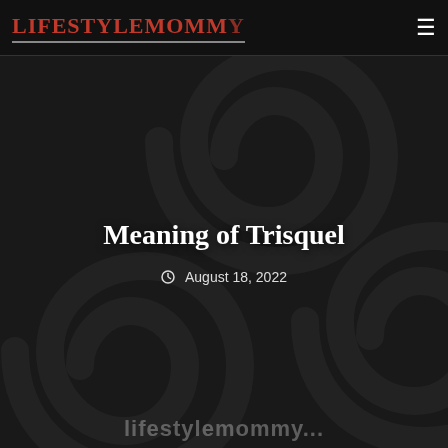LIFESTYLEMOMMY
[Figure (illustration): Dark background with large triskel/triskelion spiral symbol (three interlocked spiral arms) rendered in dark brown/black on a near-black background, repeated across the image area]
Meaning of Trisquel
August 18, 2022
lifestylemommy